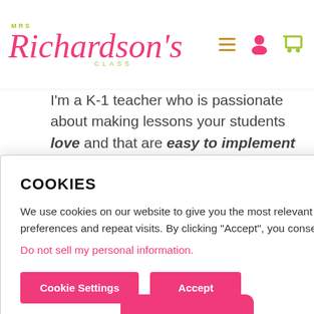MRS Richardson's CLASS
I'm a K-1 teacher who is passionate about making lessons your students love and that are easy to implement for teachers.  Helping teachers like you navigate their way ... ings me ... er who ... t ... . Here, ... to move
COOKIES
We use cookies on our website to give you the most relevant experience by remembering your preferences and repeat visits. By clicking “Accept”, you consent to the use of ALL the cookies.
Do not sell my personal information.
Cookie Settings
Accept